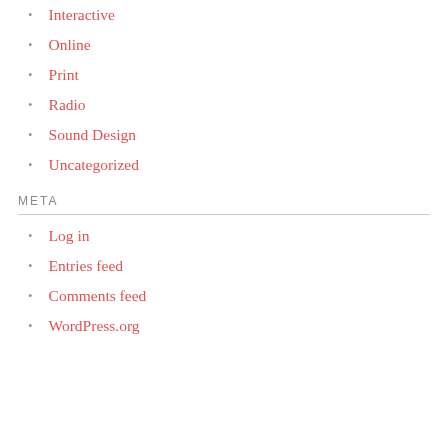Interactive
Online
Print
Radio
Sound Design
Uncategorized
META
Log in
Entries feed
Comments feed
WordPress.org